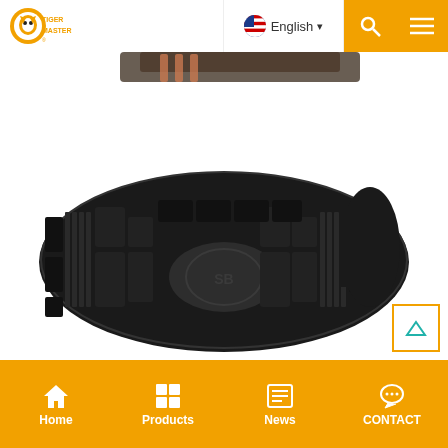Tiger Master — English
[Figure (photo): Bottom sole view of a black rubber outsole of a safety work boot, showing deep tread pattern with lugs and grooves, photographed from below against white background]
Home | Products | News | CONTACT